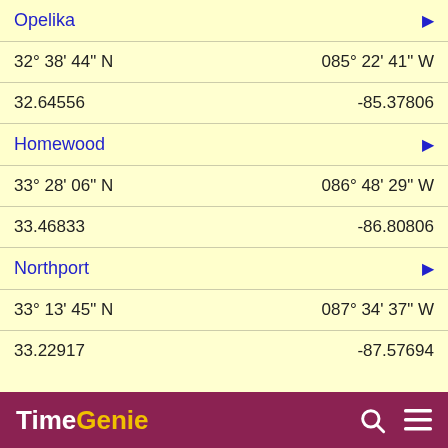Opelika
32° 38' 44" N    085° 22' 41" W
32.64556    -85.37806
Homewood
33° 28' 06" N    086° 48' 29" W
33.46833    -86.80806
Northport
33° 13' 45" N    087° 34' 37" W
33.22917    -87.57694
TimeGenie